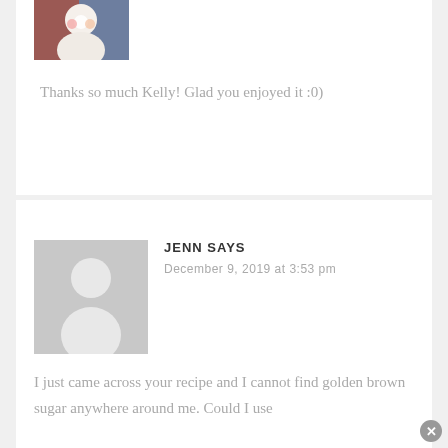[Figure (photo): A photo showing two people holding a white cake with flowers, cropped at top of page]
Thanks so much Kelly! Glad you enjoyed it :0)
[Figure (photo): Gray silhouette avatar placeholder for user Jenn]
JENN SAYS
December 9, 2019 at 3:53 pm
I just came across your recipe and I cannot find golden brown sugar anywhere around me. Could I use